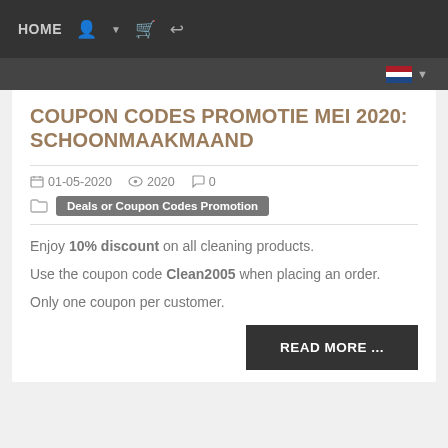HOME
COUPON CODES PROMOTIE MEI 2020: SCHOONMAAKMAAND
01-05-2020   2020   0
Deals or Coupon Codes Promotion
Enjoy 10% discount on all cleaning products.
Use the coupon code Clean2005 when placing an order.
Only one coupon per customer.
READ MORE ...